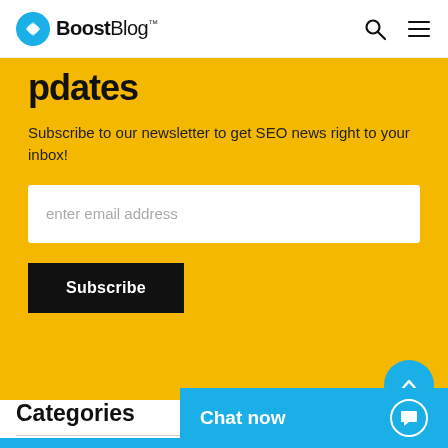BoostBlog
updates
Subscribe to our newsletter to get SEO news right to your inbox!
enter email address
Subscribe
Categories
Chat now